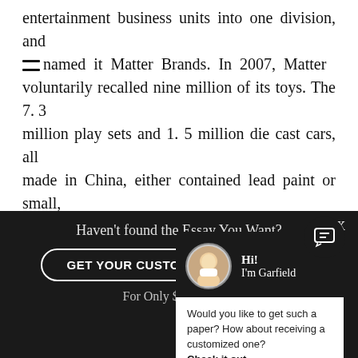entertainment business units into one division, and named it Matter Brands. In 2007, Matter voluntarily recalled nine million of its toys. The 7. 3 million play sets and 1. 5 million die cast cars, all made in China, either contained lead paint or small, powerful magnets which could be swallowed, causing intestinal damage and d[obscured by overlay]
Matter is a unique co[mpany and a leader in the] world in the area of ch[ildren's toys. Despite many] ups and downs in its 6[0+ year history. With the] changes in the econom[y and changing consumer] trends, it has tried to [adapt to these challenges and] has made many strides[. It has adapted to meet] changes. In the future[, it will continue to do s]
[Figure (screenshot): Chat popup overlay with dark header showing avatar photo and greeting 'Hi! I'm Garfield', with body text 'Would you like to get such a paper? How about receiving a customized one? Check it out' and a close X button]
[Figure (other): Dark circular message/chat icon button at bottom right]
Haven't found the Essay You Want?
GET YOUR CUSTOM ESSAY SAMPLE
For Only $13.90/page